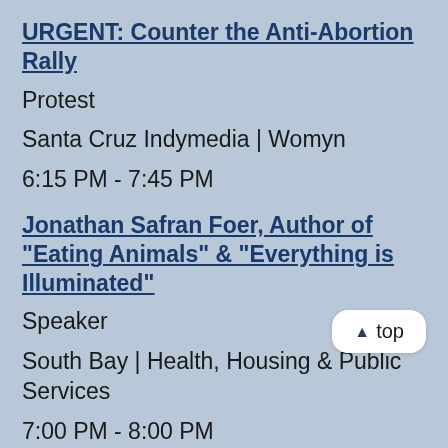URGENT: Counter the Anti-Abortion Rally
Protest
Santa Cruz Indymedia | Womyn
6:15 PM - 7:45 PM
Jonathan Safran Foer, Author of "Eating Animals" & "Everything is Illuminated"
Speaker
South Bay | Health, Housing & Public Services
7:00 PM - 8:00 PM
Lies, Misreporting and Catastrophe in the